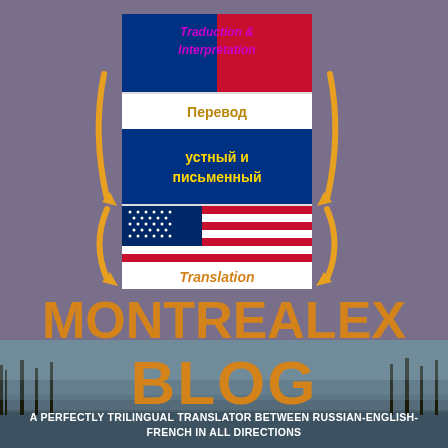[Figure (logo): Montrealex Blog logo with French flag (Traduction & Interprétation), Russian text (Перевод устный и письменный), US flag (Translation), surrounded by circular orange arrows on purple background]
MONTREALEX BLOG
A PERFECTLY TRILINGUAL TRANSLATOR BETWEEN RUSSIAN-ENGLISH-FRENCH IN ALL DIRECTIONS